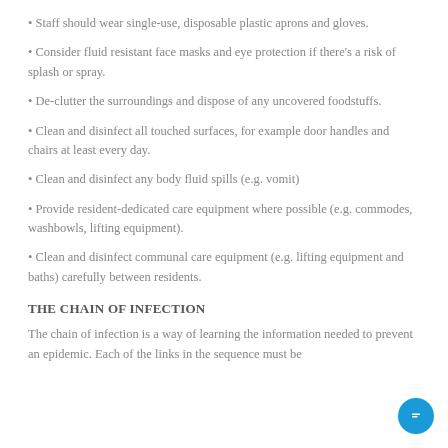Staff should wear single-use, disposable plastic aprons and gloves.
Consider fluid resistant face masks and eye protection if there's a risk of splash or spray.
De-clutter the surroundings and dispose of any uncovered foodstuffs.
Clean and disinfect all touched surfaces, for example door handles and chairs at least every day.
Clean and disinfect any body fluid spills (e.g. vomit)
Provide resident-dedicated care equipment where possible (e.g. commodes, washbowls, lifting equipment).
Clean and disinfect communal care equipment (e.g. lifting equipment and baths) carefully between residents.
THE CHAIN OF INFECTION
The chain of infection is a way of learning the information needed to prevent an epidemic. Each of the links in the sequence must be